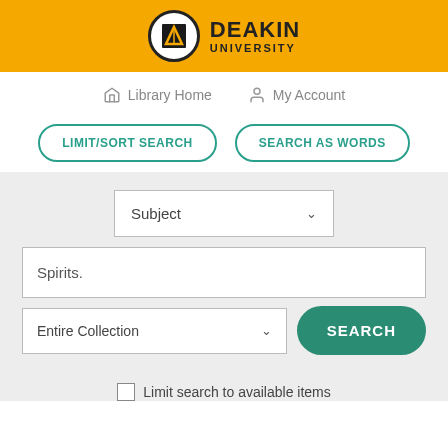[Figure (logo): Deakin University logo with shield icon on orange background header bar]
Library Home   My Account
LIMIT/SORT SEARCH   SEARCH AS WORDS
[Figure (screenshot): Library catalogue search interface with Subject dropdown, search input showing 'Spirits.', Entire Collection dropdown, and SEARCH button]
Limit search to available items